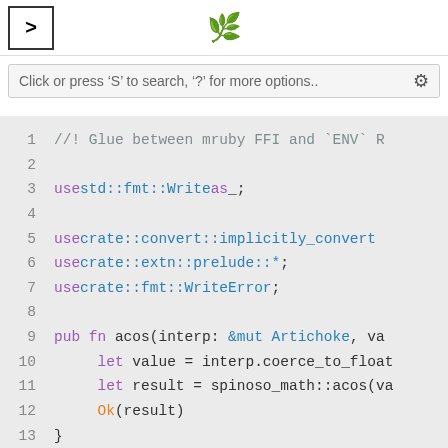[Figure (screenshot): Top navigation bar with arrow button, artichoke logo, search bar, and settings icon]
Click or press 'S' to search, '?' for more options..
[Figure (screenshot): Code editor showing Rust source code with line numbers 1-13]
1  //! Glue between mruby FFI and `ENV` R
2
3  use std::fmt::Write as _;
4
5  use crate::convert::implicitly_convert
6  use crate::extn::prelude::*;
7  use crate::fmt::WriteError;
8
9  pub fn acos(interp: &mut Artichoke, va
10     let value = interp.coerce_to_float
11     let result = spinoso_math::acos(va
12     Ok(result)
13 }